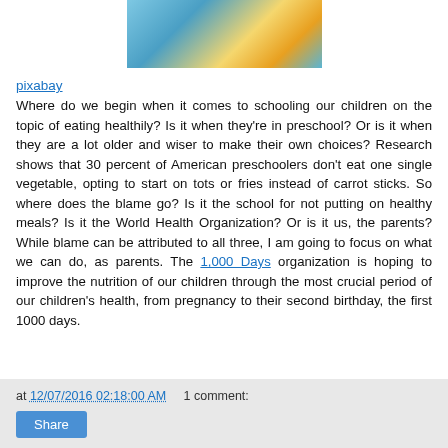[Figure (photo): Photo of children holding food items, partially cropped at top]
pixabay
Where do we begin when it comes to schooling our children on the topic of eating healthily? Is it when they're in preschool? Or is it when they are a lot older and wiser to make their own choices? Research shows that 30 percent of American preschoolers don't eat one single vegetable, opting to start on tots or fries instead of carrot sticks. So where does the blame go? Is it the school for not putting on healthy meals? Is it the World Health Organization? Or is it us, the parents? While blame can be attributed to all three, I am going to focus on what we can do, as parents. The 1,000 Days organization is hoping to improve the nutrition of our children through the most crucial period of our children's health, from pregnancy to their second birthday, the first 1000 days.
at 12/07/2016 02:18:00 AM   1 comment:  Share